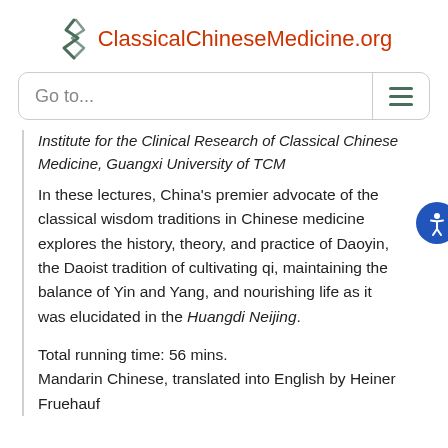ClassicalChineseMedicine.org
Go to...
Institute for the Clinical Research of Classical Chinese Medicine, Guangxi University of TCM
In these lectures, China's premier advocate of the classical wisdom traditions in Chinese medicine explores the history, theory, and practice of Daoyin, the Daoist tradition of cultivating qi, maintaining the balance of Yin and Yang, and nourishing life as it was elucidated in the Huangdi Neijing.
Total running time: 56 mins.
Mandarin Chinese, translated into English by Heiner Fruehauf